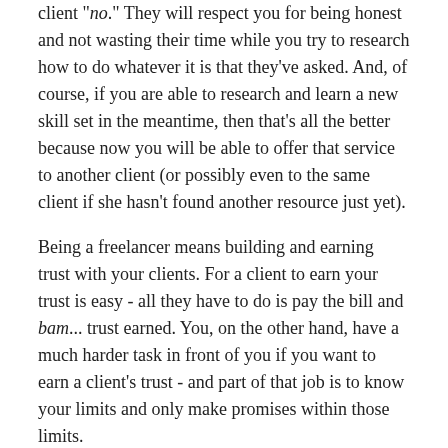client "no." They will respect you for being honest and not wasting their time while you try to research how to do whatever it is that they've asked. And, of course, if you are able to research and learn a new skill set in the meantime, then that's all the better because now you will be able to offer that service to another client (or possibly even to the same client if she hasn't found another resource just yet).
Being a freelancer means building and earning trust with your clients. For a client to earn your trust is easy - all they have to do is pay the bill and bam... trust earned. You, on the other hand, have a much harder task in front of you if you want to earn a client's trust - and part of that job is to know your limits and only make promises within those limits.
Sell your Services and Intellectual Property to Other Developers
Here in the United States, this is a big risk. But rather than delve into all the ways that healthy competition can be turned